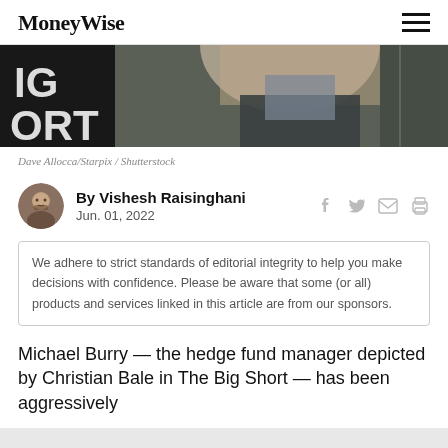MoneyWise
[Figure (photo): Cropped photo of a person at an event with 'IG ORT' text visible on a backdrop, dark background]
Dave Allocca/Starpix / Shutterstock
By Vishesh Raisinghani
Jun. 01, 2022
We adhere to strict standards of editorial integrity to help you make decisions with confidence. Please be aware that some (or all) products and services linked in this article are from our sponsors.
Michael Burry — the hedge fund manager depicted by Christian Bale in The Big Short — has been aggressively